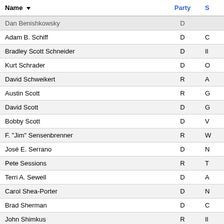| Name | Party | S |
| --- | --- | --- |
| Dan Benishkowsky | D |  |
| Adam B. Schiff | D | C |
| Bradley Scott Schneider | D | Il |
| Kurt Schrader | D | O |
| David Schweikert | R | A |
| Austin Scott | R | G |
| David Scott | D | G |
| Bobby Scott | D | V |
| F. "Jim" Sensenbrenner | R | W |
| José E. Serrano | D | N |
| Pete Sessions | R | T |
| Terri A. Sewell | D | A |
| Carol Shea-Porter | D | N |
| Brad Sherman | D | C |
| John Shimkus | R | Il |
| Bill Shuster | R | P |
| Mike Simpson | R | I |
| Kyrsten Sinema | D | A |
| Albio Sires | D | N |
| Louise McIntosh Slaughter | D | N |
| David Adam Smith | D | W |
| Adrian Smith | R | N |
| Chris Smith | R |  |